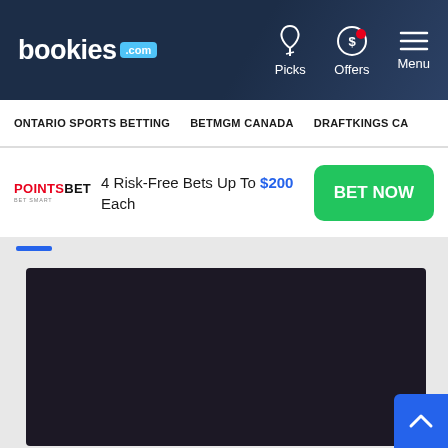bookies.com | Picks | Offers | Menu
ONTARIO SPORTS BETTING   BETMGM CANADA   DRAFTKINGS CA
4 Risk-Free Bets Up To $200 Each
[Figure (screenshot): Dark embedded video/media player area]
[Figure (other): Scroll to top button (blue, chevron up)]